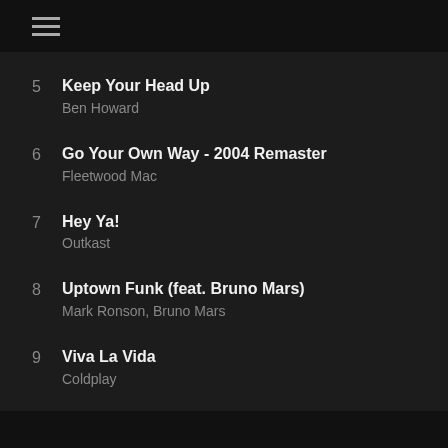≡
5 Keep Your Head Up
Ben Howard
6 Go Your Own Way - 2004 Remaster
Fleetwood Mac
7 Hey Ya!
Outkast
8 Uptown Funk (feat. Bruno Mars)
Mark Ronson, Bruno Mars
9 Viva La Vida
Coldplay
POWERED BY WORDPRESS. CREATED BY THEMESINDEP
BACK TO TOP